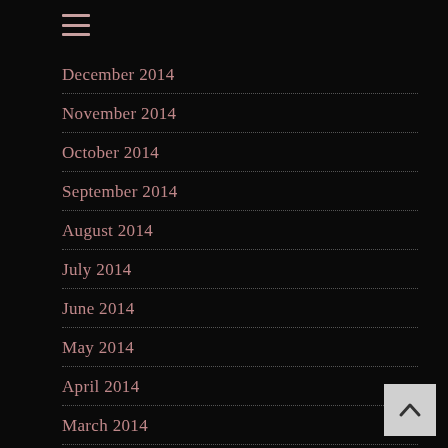[Figure (other): Hamburger menu icon with three horizontal lines]
December 2014
November 2014
October 2014
September 2014
August 2014
July 2014
June 2014
May 2014
April 2014
March 2014
February 2014
[Figure (other): Back to top button with upward chevron arrow on light grey background]